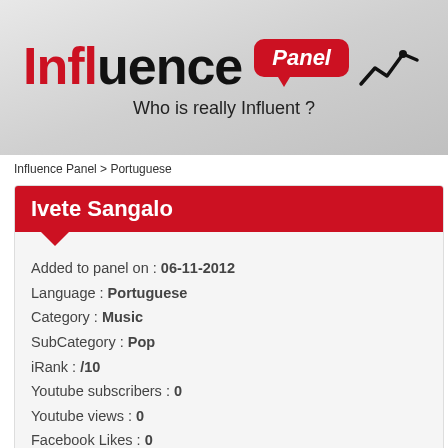[Figure (logo): Influence Panel logo with red badge saying 'Panel', tagline 'Who is really Influent?', and a line chart icon]
Influence Panel > Portuguese
Ivete Sangalo
Added to panel on : 06-11-2012
Language : Portuguese
Category : Music
SubCategory : Pop
iRank : /10
Youtube subscribers : 0
Youtube views : 0
Facebook Likes : 0
Twitter Followers : 17 135 110
Instagram Followers : 0